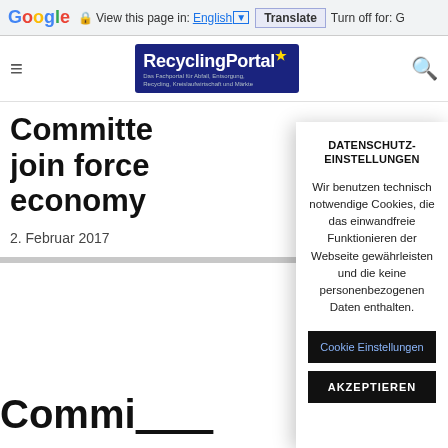Google  View this page in: English [▼]  Translate  Turn off for: G
[Figure (logo): RecyclingPortal logo - dark blue background with white bold text and yellow star]
Committee join forces economy
2. Februar 2017
DATENSCHUTZEINSTELLUNGEN
Wir benutzen technisch notwendige Cookies, die das einwandfreie Funktionieren der Webseite gewährleisten und die keine personenbezogenen Daten enthalten.
Cookie Einstellungen
AKZEPTIEREN
Commi